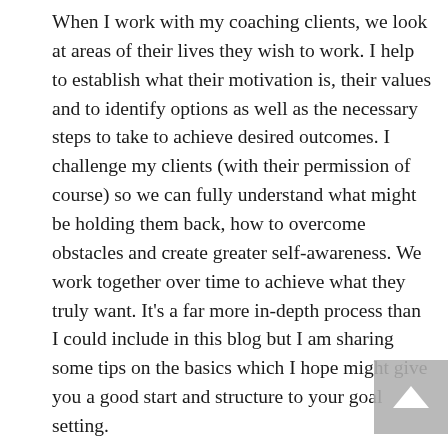When I work with my coaching clients, we look at areas of their lives they wish to work. I help to establish what their motivation is, their values and to identify options as well as the necessary steps to take to achieve desired outcomes. I challenge my clients (with their permission of course) so we can fully understand what might be holding them back, how to overcome obstacles and create greater self-awareness. We work together over time to achieve what they truly want. It's a far more in-depth process than I could include in this blog but I am sharing some tips on the basics which I hope might give you a good start and structure to your goal setting.